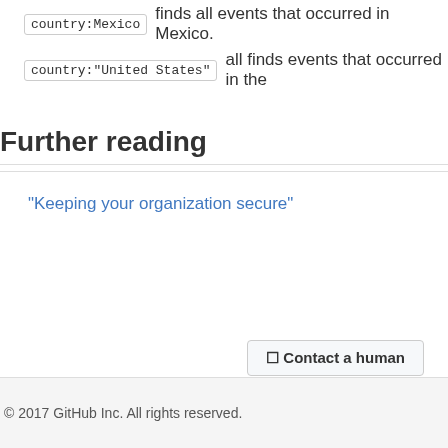country:Mexico finds all events that occurred in Mexico.
country:"United States" all finds events that occurred in the
Further reading
"Keeping your organization secure"
© 2017 GitHub Inc. All rights reserved.